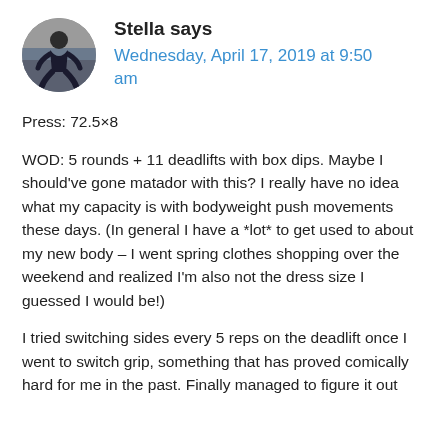[Figure (photo): Circular avatar photo of a person (Stella) doing a squat exercise in a gym setting]
Stella says
Wednesday, April 17, 2019 at 9:50 am
Press: 72.5×8
WOD: 5 rounds + 11 deadlifts with box dips. Maybe I should've gone matador with this? I really have no idea what my capacity is with bodyweight push movements these days. (In general I have a *lot* to get used to about my new body – I went spring clothes shopping over the weekend and realized I'm also not the dress size I guessed I would be!)
I tried switching sides every 5 reps on the deadlift once I went to switch grip, something that has proved comically hard for me in the past. Finally managed to figure it out